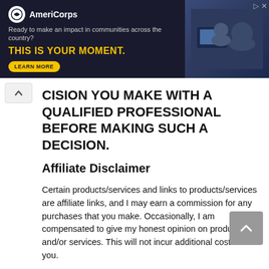[Figure (other): AmeriCorps advertisement banner with dark blue background. Shows AmeriCorps logo, tagline 'Ready to make an impact in communities across the country?', bold yellow text 'THIS IS YOUR MOMENT.', a LEARN MORE button, and a photo of people working at computers on the right.]
CISION YOU MAKE WITH A QUALIFIED PROFESSIONAL BEFORE MAKING SUCH A DECISION.
Affiliate Disclaimer
Certain products/services and links to products/services are affiliate links, and I may earn a commission for any purchases that you make. Occasionally, I am compensated to give my honest opinion on products and/or services. This will not incur additional cost to you.
I mention these products and services to you because I believe in them and want to help you